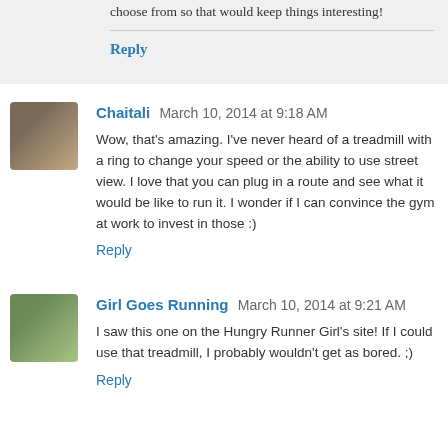choose from so that would keep things interesting!
Reply
Chaitali March 10, 2014 at 9:18 AM
Wow, that's amazing. I've never heard of a treadmill with a ring to change your speed or the ability to use street view. I love that you can plug in a route and see what it would be like to run it. I wonder if I can convince the gym at work to invest in those :)
Reply
Girl Goes Running March 10, 2014 at 9:21 AM
I saw this one on the Hungry Runner Girl's site! If I could use that treadmill, I probably wouldn't get as bored. ;)
Reply